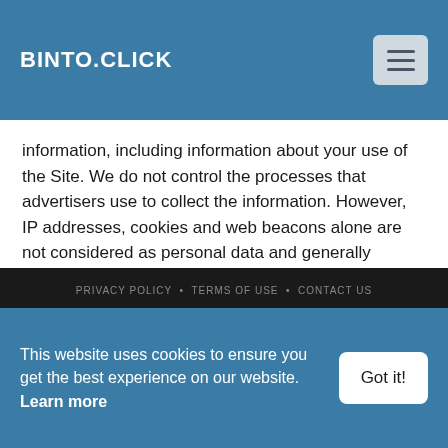BINTO.CLICK
information, including information about your use of the Site. We do not control the processes that advertisers use to collect the information. However, IP addresses, cookies and web beacons alone are not considered as personal data and generally cannot be used to identify individuals, only machines. Therefore, advertisers and others whose advertisements or content may appear on the Site generally will not know who you are, unless you provide additional information to them, by responding to an advertisement, by entering into an agreement with them, or by some other means.
PRIVACY POLICY   TERMS OF USE   CONTACT US
This website uses cookies to ensure you get the best experience on our website. Learn more